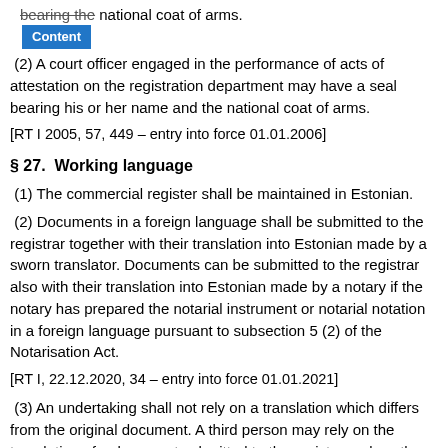bearing the national coat of arms.
(2) A court officer engaged in the performance of acts of attestation on the registration department may have a seal bearing his or her name and the national coat of arms.
[RT I 2005, 57, 449 – entry into force 01.01.2006]
§ 27.  Working language
(1) The commercial register shall be maintained in Estonian.
(2) Documents in a foreign language shall be submitted to the registrar together with their translation into Estonian made by a sworn translator. Documents can be submitted to the registrar also with their translation into Estonian made by a notary if the notary has prepared the notarial instrument or notarial notation in a foreign language pursuant to subsection 5 (2) of the Notarisation Act.
[RT I, 22.12.2020, 34 – entry into force 01.01.2021]
(3) An undertaking shall not rely on a translation which differs from the original document. A third person may rely on the translation of a document submitted to the registrar unless the undertaking proves that the third person was aware of the inaccuracy of the translation.